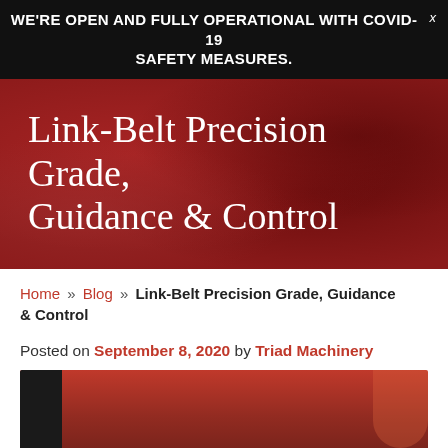WE'RE OPEN AND FULLY OPERATIONAL WITH COVID-19 SAFETY MEASURES.
Link-Belt Precision Grade, Guidance & Control
Home » Blog » Link-Belt Precision Grade, Guidance & Control
Posted on September 8, 2020 by Triad Machinery
[Figure (photo): Close-up photo of Link-Belt machinery components, showing orange/red metal parts]